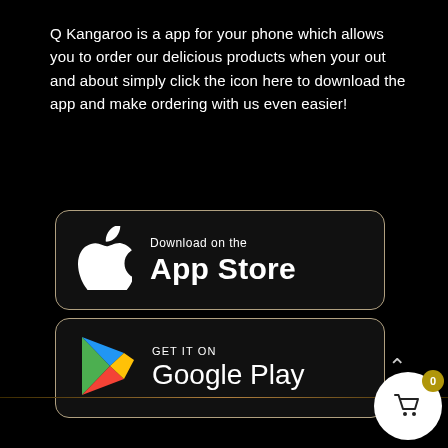Q Kangaroo is a app for your phone which allows you to order our delicious products when your out and about simply click the icon here to download the app and make ordering with us even easier!
[Figure (logo): Download on the App Store button — black rounded rectangle with gold border, Apple logo icon on left, text 'Download on the App Store' on right in white]
[Figure (logo): Get it on Google Play button — black rounded rectangle with gold border, Google Play triangle logo icon on left, text 'GET IT ON Google Play' on right in white]